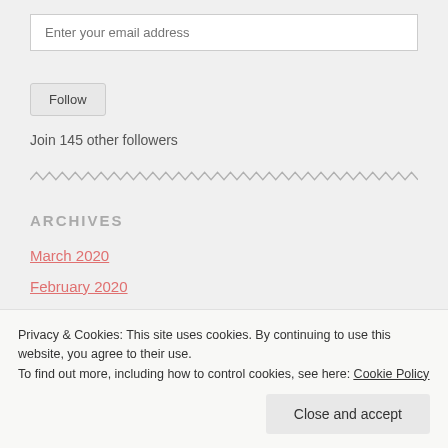Enter your email address
Follow
Join 145 other followers
ARCHIVES
March 2020
February 2020
Privacy & Cookies: This site uses cookies. By continuing to use this website, you agree to their use.
To find out more, including how to control cookies, see here: Cookie Policy
Close and accept